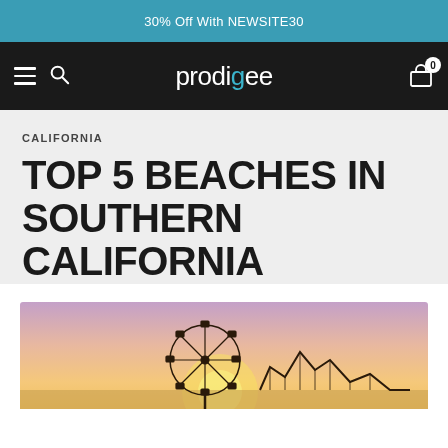30% Off With NEWSITE30
[Figure (logo): Prodigee brand logo in white text with teal accent on dark nav bar, alongside hamburger menu, search icon, and cart icon]
CALIFORNIA
TOP 5 BEACHES IN SOUTHERN CALIFORNIA
[Figure (photo): Sunset photo of Santa Monica beach with ferris wheel and roller coaster silhouettes against a pink and golden sky]